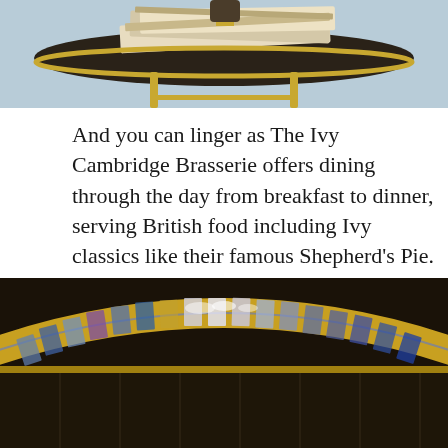[Figure (photo): Top portion of a photo showing a round table with newspapers/magazines on top, with a light blue background. Gold/brass table legs visible.]
And you can linger as The Ivy Cambridge Brasserie offers dining through the day from breakfast to dinner, serving British food including Ivy classics like their famous Shepherd’s Pie.  Or you can just come for a drink, maybe enjoy a cocktail, at the well stocked bar where the white jacketed bartenders and acres of sparkling glassware amp up the wow factor.
[Figure (photo): Bottom portion of a photo showing a curved bar or counter with sparkling crystal/glass decorative elements in gold/brass tones, with colorful reflections.]